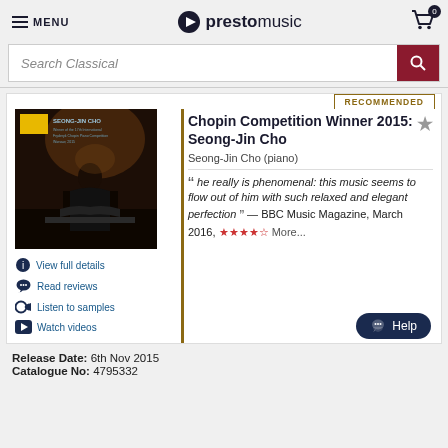MENU | prestomusic | Cart 0
Search Classical
RECOMMENDED
[Figure (photo): Album cover for Chopin Competition Winner 2015: Seong-Jin Cho on Deutsche Grammophon, showing pianist silhouette at piano]
Chopin Competition Winner 2015: Seong-Jin Cho
Seong-Jin Cho (piano)
“ he really is phenomenal: this music seems to flow out of him with such relaxed and elegant perfection ” — BBC Music Magazine, March 2016, ★★★★☆ More...
View full details
Read reviews
Listen to samples
Watch videos
Release Date: 6th Nov 2015
Catalogue No: 4795332